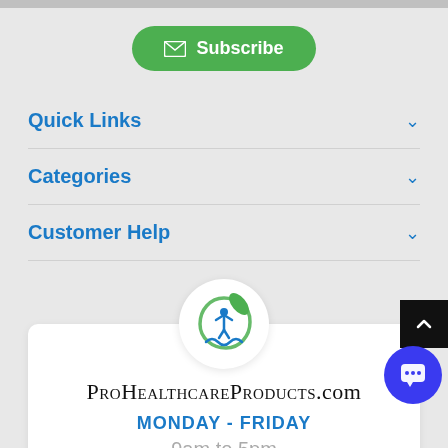[Figure (other): Green Subscribe button with envelope icon at top center of page]
Quick Links
Categories
Customer Help
[Figure (logo): ProHealthcareProducts.com circular logo with green leaf and blue human figure with hands]
ProHealthcareProducts.com
MONDAY - FRIDAY
9am to 5pm
Mountain Time Except Day